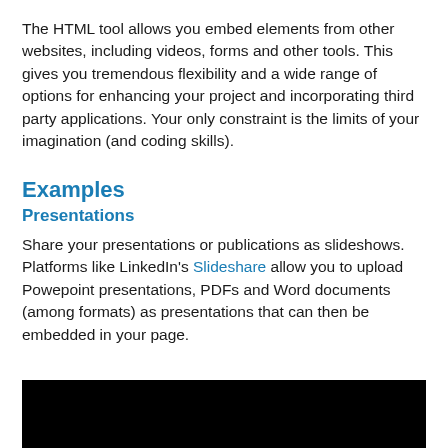The HTML tool allows you embed elements from other websites, including videos, forms and other tools. This gives you tremendous flexibility and a wide range of options for enhancing your project and incorporating third party applications. Your only constraint is the limits of your imagination (and coding skills).
Examples
Presentations
Share your presentations or publications as slideshows. Platforms like LinkedIn's Slideshare allow you to upload Powepoint presentations, PDFs and Word documents (among formats) as presentations that can then be embedded in your page.
[Figure (screenshot): Black rectangle representing an embedded presentation or video player area]